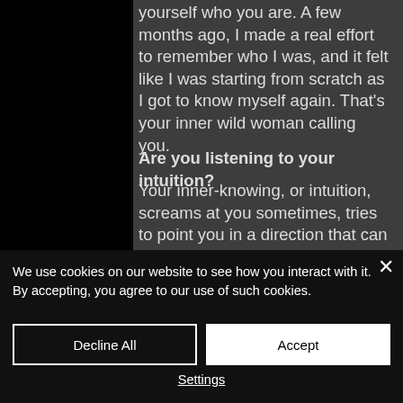yourself who you are. A few months ago, I made a real effort to remember who I was, and it felt like I was starting from scratch as I got to know myself again. That's your inner wild woman calling you.
Are you listening to your intuition?
Your inner-knowing, or intuition, screams at you sometimes, tries to point you in a direction that can sometimes make NO SENSE
We use cookies on our website to see how you interact with it. By accepting, you agree to our use of such cookies.
Decline All
Accept
Settings